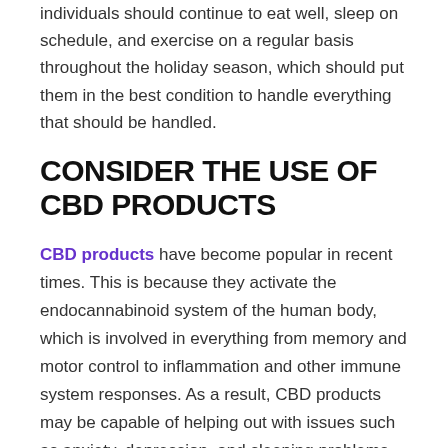individuals should continue to eat well, sleep on schedule, and exercise on a regular basis throughout the holiday season, which should put them in the best condition to handle everything that should be handled.
CONSIDER THE USE OF CBD PRODUCTS
CBD products have become popular in recent times. This is because they activate the endocannabinoid system of the human body, which is involved in everything from memory and motor control to inflammation and other immune system responses. As a result, CBD products may be capable of helping out with issues such as anxiety, depression, and sleeping problems.